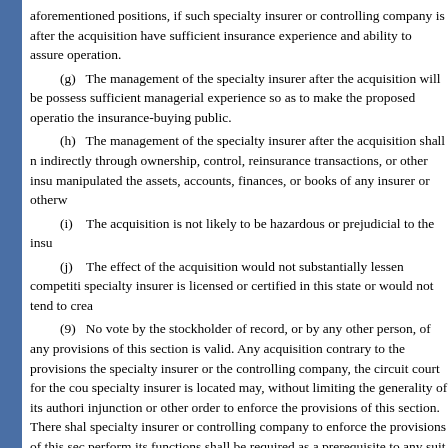aforementioned positions, if such specialty insurer or controlling company is after the acquisition have sufficient insurance experience and ability to assure operation.
(g) The management of the specialty insurer after the acquisition will be possess sufficient managerial experience so as to make the proposed operation the insurance-buying public.
(h) The management of the specialty insurer after the acquisition shall n indirectly through ownership, control, reinsurance transactions, or other insu manipulated the assets, accounts, finances, or books of any insurer or otherw
(i) The acquisition is not likely to be hazardous or prejudicial to the insu
(j) The effect of the acquisition would not substantially lessen competiti specialty insurer is licensed or certified in this state or would not tend to crea
(9) No vote by the stockholder of record, or by any other person, of any provisions of this section is valid. Any acquisition contrary to the provisions the specialty insurer or the controlling company, the circuit court for the cou specialty insurer is located may, without limiting the generality of its authori injunction or other order to enforce the provisions of this section. There shal specialty insurer or controlling company to enforce the provisions of this sec perform its functions shall be required as a prerequisite to any suit by the sp against any other person, and in no case shall the office be deemed a necessa insurer or controlling company to enforce the provisions of this section. Any acquisition requiring the filing of an application pursuant to this section, or w